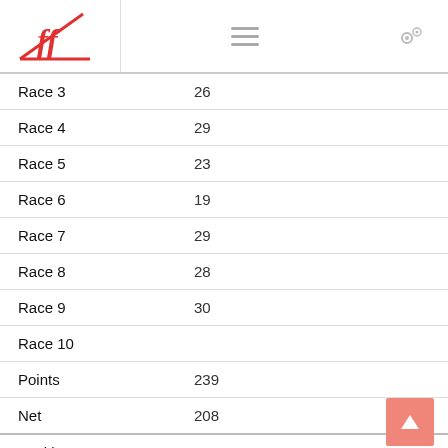FF logo, hamburger menu, settings gear
|  |  |
| --- | --- |
| Race 3 | 26 |
| Race 4 | 29 |
| Race 5 | 23 |
| Race 6 | 19 |
| Race 7 | 29 |
| Race 8 | 28 |
| Race 9 | 30 |
| Race 10 |  |
| Points | 239 |
| Net | 208 |
| Position | 30 |
| Boat No. | IRL 3665 |